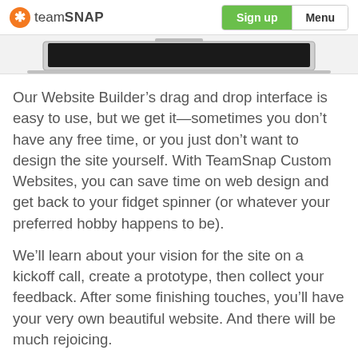teamSNAP | Sign up | Menu
[Figure (photo): Partial view of a laptop (MacBook) from top, showing the top edge of the screen, cropped at the top of the page.]
Our Website Builder’s drag and drop interface is easy to use, but we get it—sometimes you don’t have any free time, or you just don’t want to design the site yourself. With TeamSnap Custom Websites, you can save time on web design and get back to your fidget spinner (or whatever your preferred hobby happens to be).
We’ll learn about your vision for the site on a kickoff call, create a prototype, then collect your feedback. After some finishing touches, you’ll have your very own beautiful website. And there will be much rejoicing.